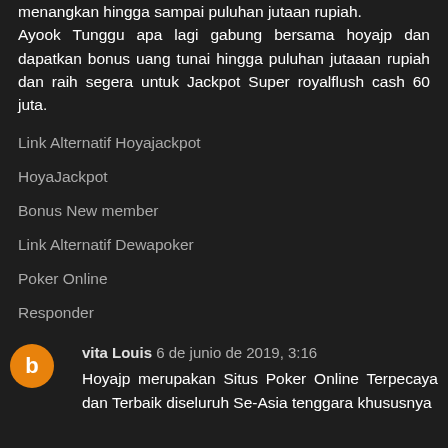menangkan hingga sampai puluhan jutaan rupiah. Ayook Tunggu apa lagi gabung bersama hoyajp dan dapatkan bonus uang tunai hingga puluhan jutaaan rupiah dan raih segera untuk Jackpot Super royalflush cash 60 juta.
Link Alternatif Hoyajackpot
HoyaJackpot
Bonus New member
Link Alternatif Dewapoker
Poker Online
Responder
vita Louis 6 de junio de 2019, 3:16
Hoyajp merupakan Situs Poker Online Terpecaya dan Terbaik diseluruh Se-Asia tenggara khususnya